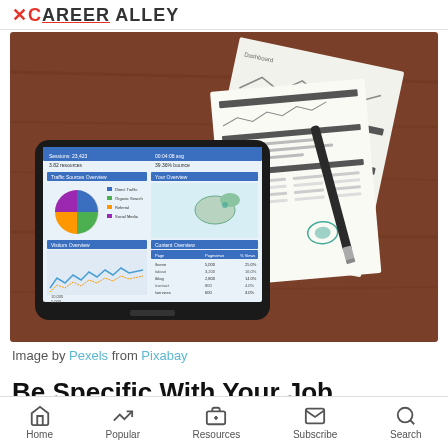CareerAlley
[Figure (photo): A tablet displaying Google Analytics dashboard with pie chart and line graphs, placed on a wooden table next to printed reports and a pen]
Image by Pexels from Pixabay
Be Specific With Your Job
Home   Popular   Resources   Subscribe   Search